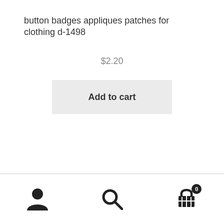button badges appliques patches for clothing d-1498
$2.20
Add to cart
User icon, Search icon, Cart icon with badge 0